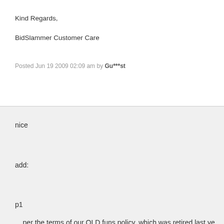Kind Regards,
BidSlammer Customer Care
Posted Jun 19 2009 02:09 am by Gu***st
nice
add:
p1
... per the terms of our OLD funs policy, which was retired last ye